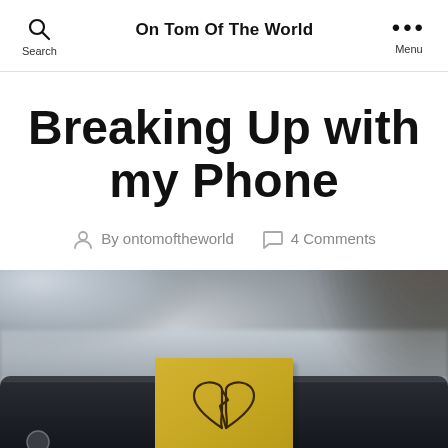On Tom Of The World
Breaking Up with my Phone
By ontomoftheworld   4 Comments
[Figure (photo): A sticky note with a broken heart drawing resting on a smartphone, on a reflective desk surface, with a blurred hand in background.]